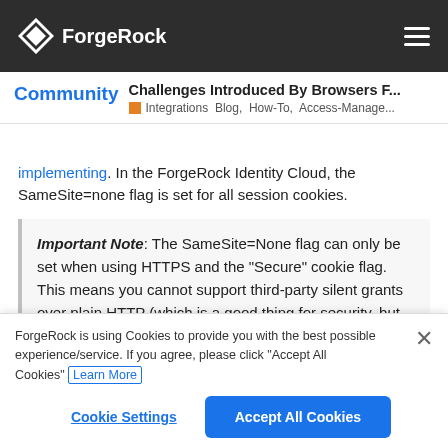ForgeRock — navigation bar with logo and hamburger menu
Community | Challenges Introduced By Browsers F... | Integrations Blog, How-To, Access-Manage...
implementing. In the ForgeRock Identity Cloud, the SameSite=none flag is set for all session cookies.
Important Note: The SameSite=None flag can only be set when using HTTPS and the "Secure" cookie flag. This means you cannot support third-party silent grants over plain HTTP (which is a good thing for security, but may be a "gotcha" for developers).
ForgeRock is using Cookies to provide you with the best possible experience/service. If you agree, please click "Accept All Cookies" Learn More
Cookie Settings | Accept All Cookies